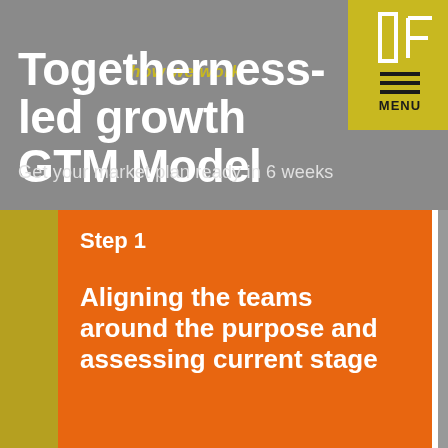[Figure (logo): IF logo in top right gold panel]
Togetherness-led growth GTM Model
how we work
Get your market plan ready in 6 weeks
Step 1
Aligning the teams around the purpose and assessing current stage